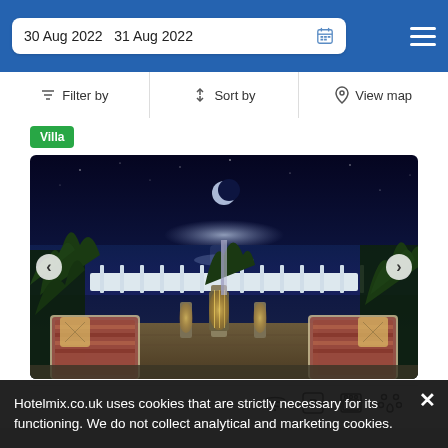30 Aug 2022  31 Aug 2022
Filter by  Sort by  View map
Villa
[Figure (photo): Night-time outdoor terrace of a villa with lanterns glowing on a wooden table, patterned cushions on chairs, tropical plants, a white fence, and moonlit sea in the background]
Hotelmix.co.uk uses cookies that are strictly necessary for its functioning. We do not collect analytical and marketing cookies.